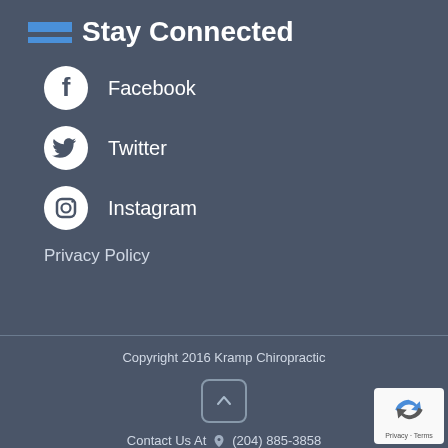Stay Connected
Facebook
Twitter
Instagram
Privacy Policy
Copyright 2016 Kramp Chiropractic
Contact Us At   (204) 885-3858